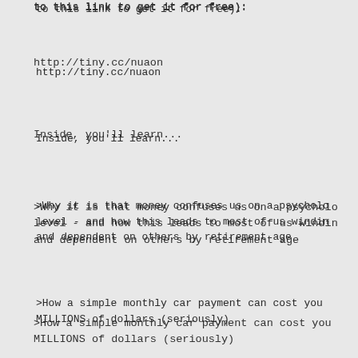to this link to get it for free):
http://tiny.cc/nuaon
Inside, you'll learn...
>Why it is that money confuses us on a psychological level - and how this leads to most of us winding up and dependent on others by retirement age
>How a simple monthly car payment can cost you MILLIONS of dollars (seriously)
>Why buying or selling things when you're "under the influence of emotion" always costs you a lot in the long-run
>A money mistake that most people make when